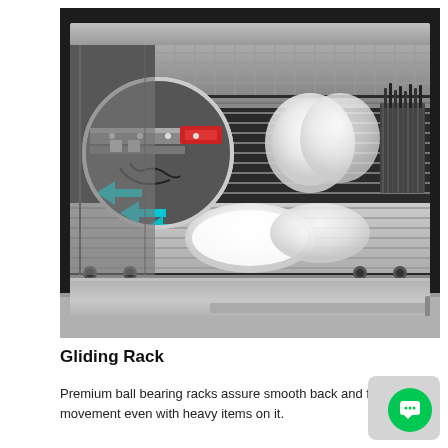[Figure (photo): Photo of an open dishwasher with a magnified circular inset showing ball bearing gliding rack mechanism. Cyan arrows point left indicating smooth back-and-forth motion; a red arrow highlights a component. The dishwasher racks hold white dishes and utensils.]
Gliding Rack
Premium ball bearing racks assure smooth back and forth movement even with heavy items on it.